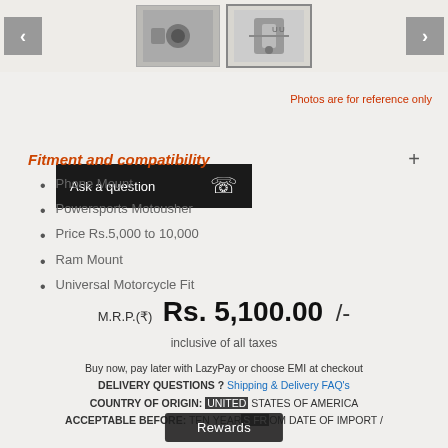[Figure (photo): Product thumbnail images of phone mount/camera mount accessories with navigation arrows]
[Figure (illustration): Ask a question WhatsApp button (black button with WhatsApp icon)]
Photos are for reference only
Fitment and compatibility
Phone Mount
Powersports Motousher
Price Rs.5,000 to 10,000
Ram Mount
Universal Motorcycle Fit
M.R.P.(₹) Rs. 5,100.00 /-
inclusive of all taxes
Buy now, pay later with LazyPay or choose EMI at checkout
DELIVERY QUESTIONS ? Shipping & Delivery FAQ's
COUNTRY OF ORIGIN: UNITED STATES OF AMERICA
ACCEPTABLE BEFORE: TEN YEARS FROM DATE OF IMPORT /